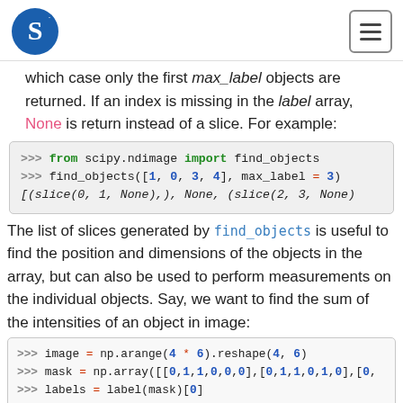S logo / hamburger menu
which case only the first max_label objects are returned. If an index is missing in the label array, None is return instead of a slice. For example:
[Figure (screenshot): Code block: >>> from scipy.ndimage import find_objects
>>> find_objects([1, 0, 3, 4], max_label = 3)
[(slice(0, 1, None),), None, (slice(2, 3, None)]
The list of slices generated by find_objects is useful to find the position and dimensions of the objects in the array, but can also be used to perform measurements on the individual objects. Say, we want to find the sum of the intensities of an object in image:
[Figure (screenshot): Code block: >>> image = np.arange(4 * 6).reshape(4, 6)
>>> mask = np.array([[0,1,1,0,0,0],[0,1,1,0,1,0],[0,
>>> labels = label(mask)[0]
>>> slices = find_objects(labels)]